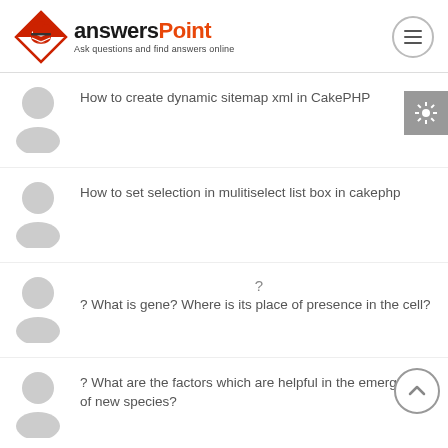[Figure (logo): AnswersPoint logo with diamond shape icon and tagline 'Ask questions and find answers online']
How to create dynamic sitemap xml in CakePHP
How to set selection in mulitiselect list box in cakephp
? ? What is gene? Where is its place of presence in the cell?
? What are the factors which are helpful in the emergence of new species?
?